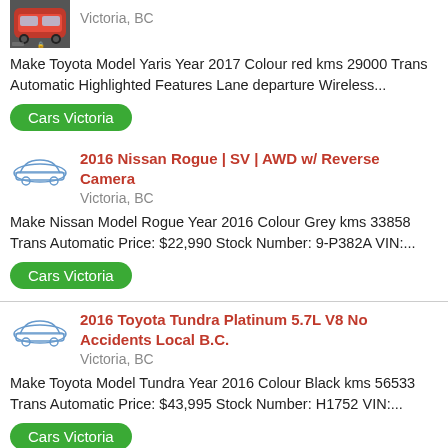[Figure (photo): Red car photo thumbnail]
Victoria, BC
Make Toyota Model Yaris Year 2017 Colour red kms 29000 Trans Automatic Highlighted Features Lane departure Wireless...
Cars Victoria
[Figure (illustration): Blue car icon/illustration]
2016 Nissan Rogue | SV | AWD w/ Reverse Camera
Victoria, BC
Make Nissan Model Rogue Year 2016 Colour Grey kms 33858 Trans Automatic Price: $22,990 Stock Number: 9-P382A VIN:...
Cars Victoria
[Figure (illustration): Blue car icon/illustration]
2016 Toyota Tundra Platinum 5.7L V8 No Accidents Local B.C.
Victoria, BC
Make Toyota Model Tundra Year 2016 Colour Black kms 56533 Trans Automatic Price: $43,995 Stock Number: H1752 VIN:...
Cars Victoria
[Figure (illustration): Blue car icon/illustration]
Mercedes V230 van
Victoria, BC